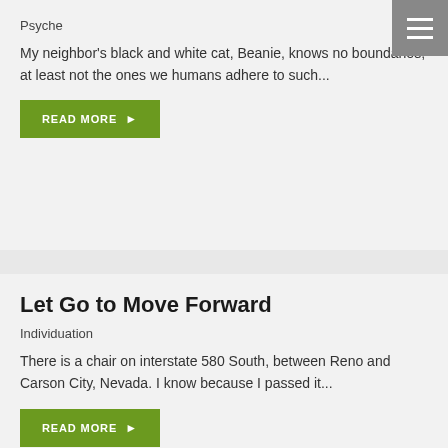Psyche
My neighbor's black and white cat, Beanie, knows no boundaries, at least not the ones we humans adhere to such...
READ MORE
Let Go to Move Forward
Individuation
There is a chair on interstate 580 South, between Reno and Carson City, Nevada. I know because I passed it...
READ MORE